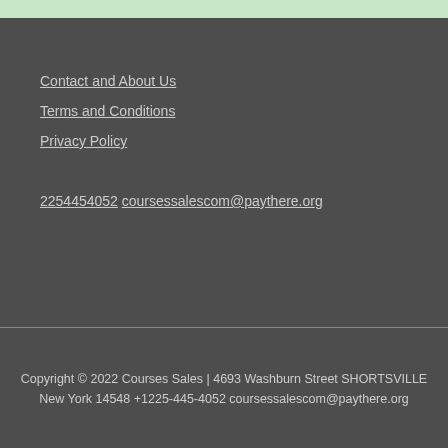Contact and About Us
Terms and Conditions
Privacy Policy
2254454052 coursessalescom@paythere.org
Copyright © 2022 Courses Sales | 4693 Washburn Street SHORTSVILLE New York 14548 +1225-445-4052 coursessalescom@paythere.org